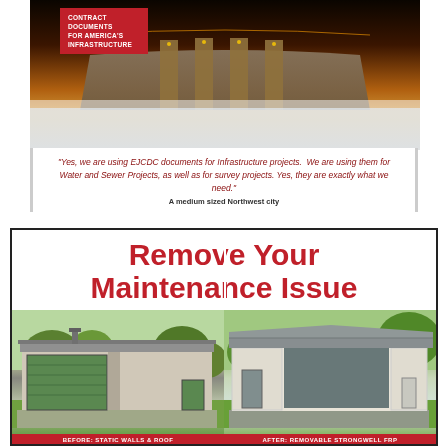[Figure (photo): Hoover Dam at night with golden lights illuminating the dam structure and water]
CONTRACT DOCUMENTS FOR AMERICA'S INFRASTRUCTURE
"Yes, we are using EJCDC documents for Infrastructure projects. We are using them for Water and Sewer Projects, as well as for survey projects. Yes, they are exactly what we need."
A medium sized Northwest city
Remove Your Maintenance Issue
[Figure (photo): Before photo: Building with static walls and roof, showing old green garage door]
BEFORE: STATIC WALLS & ROOF
[Figure (photo): After photo: Building with removable Strongwell FRP panels installed]
AFTER: REMOVABLE STRONGWELL FRP